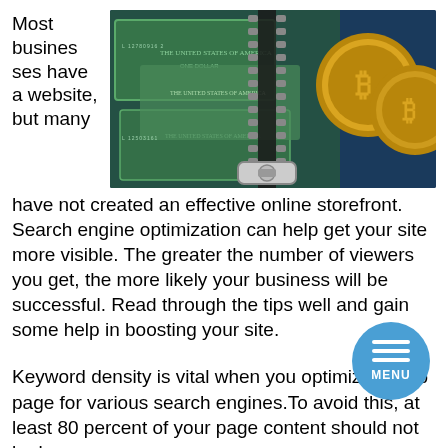Most businesses have a website, but many have not created an effective online storefront. Search engine optimization can help get your site more visible. The greater the number of viewers you get, the more likely your business will be successful. Read through the tips well and gain some help in boosting your site.
[Figure (photo): Photo of US dollar bills and Bitcoin coins held together by a zipper, symbolizing digital and physical currency.]
Keyword density is vital when you optimize a web page for various search engines.To avoid this, at least 80 percent of your page content should not be keywords.
Pay-per-click strategies can be an effective affiliate marketing in a really effective way. This is the simplest